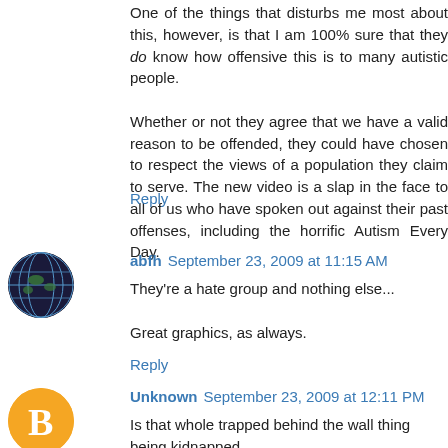One of the things that disturbs me most about this, however, is that I am 100% sure that they do know how offensive this is to many autistic people.

Whether or not they agree that we have a valid reason to be offended, they could have chosen to respect the views of a population they claim to serve. The new video is a slap in the face to all of us who have spoken out against their past offenses, including the horrific Autism Every Day.
Reply
abfh  September 23, 2009 at 11:15 AM
They're a hate group and nothing else...

Great graphics, as always.
Reply
Unknown  September 23, 2009 at 12:11 PM
Is that whole trapped behind the wall thing being kidnapped...